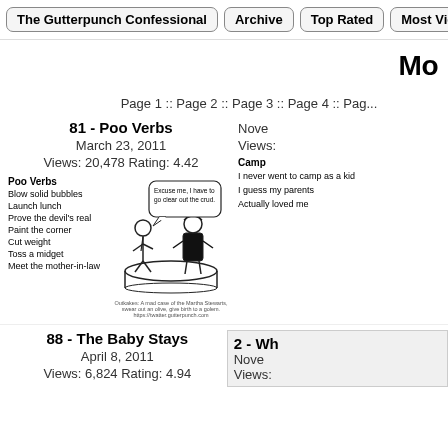The Gutterpunch Confessional | Archive | Top Rated | Most Viewed
Mo
Page 1 :: Page 2 :: Page 3 :: Page 4 :: Pag...
81 - Poo Verbs
March 23, 2011
Views: 20,478 Rating: 4.42
Poo Verbs
Blow solid bubbles
Launch lunch
Prove the devil's real
Paint the corner
Cut weight
Toss a midget
Meet the mother-in-law
[Figure (illustration): Comic illustration showing two people at a table, one saying 'Excuse me, I have to go clear out the crud.' with caption below.]
Outkakes: A mad case of the Martha Stewarts, swear out an olive, give birth to a golem. https://twatter.gutterpunch.com
November
Views:
Camp
I never went to camp as a kid
I guess my parents
Actually loved me
88 - The Baby Stays
April 8, 2011
Views: 6,824 Rating: 4.94
2 - Wh
Nove
Views: